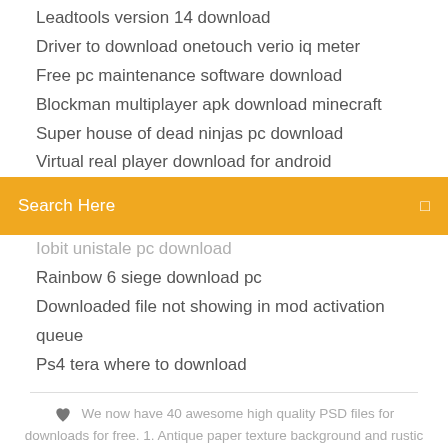Leadtools version 14 download
Driver to download onetouch verio iq meter
Free pc maintenance software download
Blockman multiplayer apk download minecraft
Super house of dead ninjas pc download
Virtual real player download for android
Search Here
Iobit unistale pc download
Rainbow 6 siege download pc
Downloaded file not showing in mod activation queue
Ps4 tera where to download
We now have 40 awesome high quality PSD files for downloads for free. 1. Antique paper texture background and rustic frame of wood and leaves. antique
f  •  Be